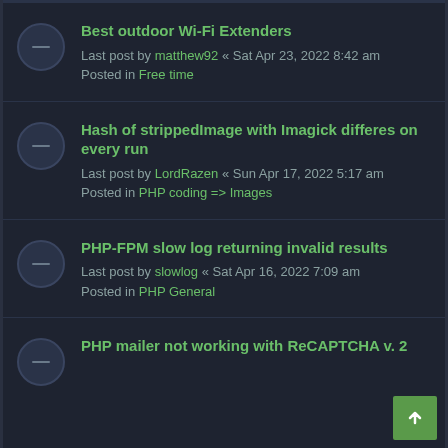Best outdoor Wi-Fi Extenders
Last post by matthew92 « Sat Apr 23, 2022 8:42 am
Posted in Free time
Hash of strippedImage with Imagick differes on every run
Last post by LordRazen « Sun Apr 17, 2022 5:17 am
Posted in PHP coding => Images
PHP-FPM slow log returning invalid results
Last post by slowlog « Sat Apr 16, 2022 7:09 am
Posted in PHP General
PHP mailer not working with ReCAPTCHA v. 2